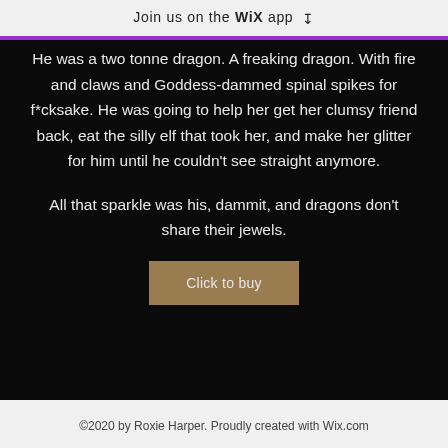Join us on the WiX app
He was a two tonne dragon. A freaking dragon. With fire and claws and Goddess-dammed spinal spikes for f*cksake. He was going to help her get her clumsy friend back, eat the silly elf that took her, and make her glitter for him until he couldn't see straight anymore.

All that sparkle was his, dammit, and dragons don't share their jewels.
Click to buy
©2020 by Roxie Harper. Proudly created with Wix.com